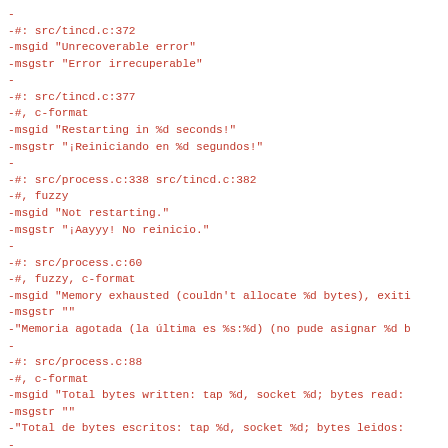-
-#: src/tincd.c:372
-msgid "Unrecoverable error"
-msgstr "Error irrecuperable"
-
-#: src/tincd.c:377
-#, c-format
-msgid "Restarting in %d seconds!"
-msgstr "¡Reiniciando en %d segundos!"
-
-#: src/process.c:338 src/tincd.c:382
-#, fuzzy
-msgid "Not restarting."
-msgstr "¡Aayyy! No reinicio."
-
-#: src/process.c:60
-#, fuzzy, c-format
-msgid "Memory exhausted (couldn't allocate %d bytes), exiti
-msgstr ""
-"Memoria agotada (la última es %s:%d) (no pude asignar %d b
-
-#: src/process.c:88
-#, c-format
-msgid "Total bytes written: tap %d, socket %d; bytes read:
-msgstr ""
-"Total de bytes escritos: tap %d, socket %d; bytes leidos:
-
-#: src/process.c:91
-msgid "Terminating"
-msgstr "Terminando"
-
-#: src/process.c:107
-#: